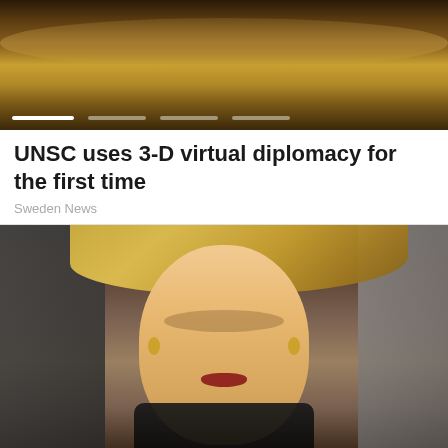[Figure (photo): Banner image showing interior of what appears to be an auditorium or assembly hall with curved wooden seating, warm brown tones, with carousel progress indicators at the bottom]
UNSC uses 3-D virtual diplomacy for the first time
Sweden News
[Figure (photo): Portrait photo of a young blonde woman with gold hoop earrings and dark red lipstick, wearing a dark outfit, photographed at what appears to be a formal event with blurred crowd in background]
15 Most Beautiful Women In The World